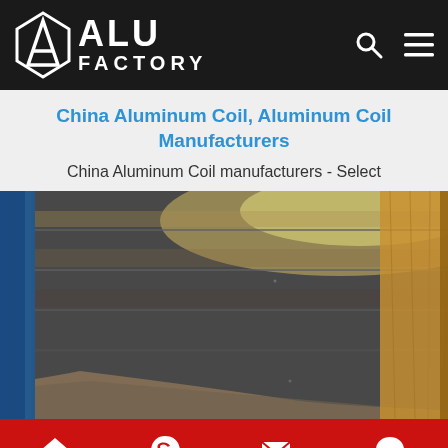ALU FACTORY
China Aluminum Coil, Aluminum Coil Manufacturers
China Aluminum Coil manufacturers - Select
[Figure (photo): Close-up photo of aluminum coil rolls in dark metallic finish, partially wrapped in brown/amber protective packaging film, with bright industrial lighting reflecting off the surface.]
Home  Skype  E-Mail  Inquiry